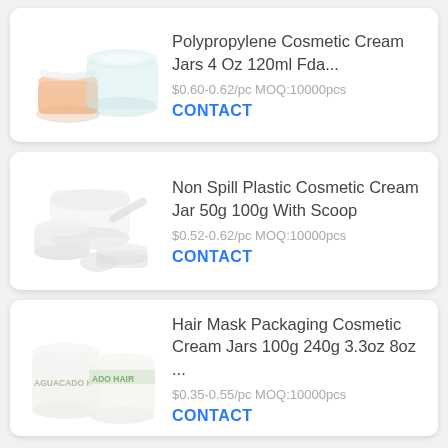[Figure (photo): Two cosmetic cream jars — one small orange/peach jar with white lid, one larger light-blue open jar — product listing image.]
Polypropylene Cosmetic Cream Jars 4 Oz 120ml Fda...
$0.60-0.62/pc MOQ:10000pcs
CONTACT
[Figure (photo): Multiple white plastic cosmetic cream jars with scoops — product listing image.]
Non Spill Plastic Cosmetic Cream Jar 50g 100g With Scoop
$0.52-0.62/pc MOQ:10000pcs
CONTACT
[Figure (photo): Two white cosmetic cream jars with green text reading 'AGUACADO HAIR' — product listing image.]
Hair Mask Packaging Cosmetic Cream Jars 100g 240g 3.3oz 8oz ...
$0.35-0.55/pc MOQ:10000pcs
CONTACT